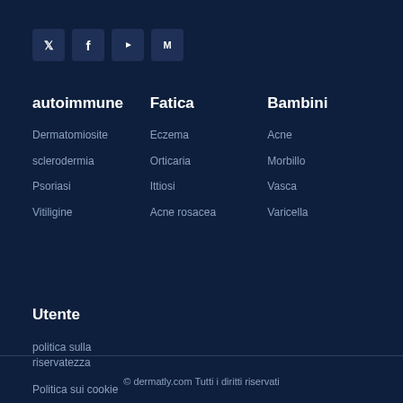[Figure (other): Social media icons row: Twitter, Facebook, YouTube, Medium]
autoimmune
Dermatomiosite
sclerodermia
Psoriasi
Vitiligine
Fatica
Eczema
Orticaria
Ittiosi
Acne rosacea
Bambini
Acne
Morbillo
Vasca
Varicella
Utente
politica sulla riservatezza
Politica sui cookie
© dermatly.com Tutti i diritti riservati